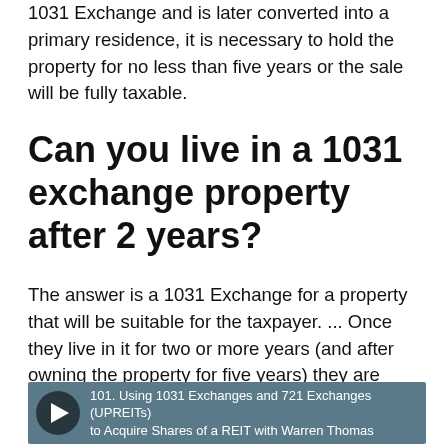1031 Exchange and is later converted into a primary residence, it is necessary to hold the property for no less than five years or the sale will be fully taxable.
Can you live in a 1031 exchange property after 2 years?
The answer is a 1031 Exchange for a property that will be suitable for the taxpayer. ... Once they live in it for two or more years (and after owning the property for five years) they are eligible to take the Section 121 exclusion on a subsequent sale.
[Figure (screenshot): Video thumbnail with play button. Title: '101. Using 1031 Exchanges and 721 Exchanges (UPREITs) to Acquire Shares of a REIT with Warren Thomas']